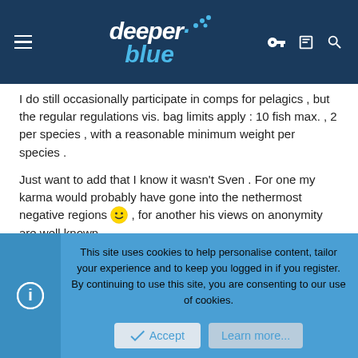deeper blue
I do still occasionally participate in comps for pelagics , but the regular regulations vis. bag limits apply : 10 fish max. , 2 per species , with a reasonable minimum weight per species .
Just want to add that I know it wasn't Sven . For one my karma would probably have gone into the nethermost negative regions 😀 , for another his views on anonymity are well known .
Last edited: Oct 3, 2002
Skindiver
100 % H2O
This site uses cookies to help personalise content, tailor your experience and to keep you logged in if you register.
By continuing to use this site, you are consenting to our use of cookies.